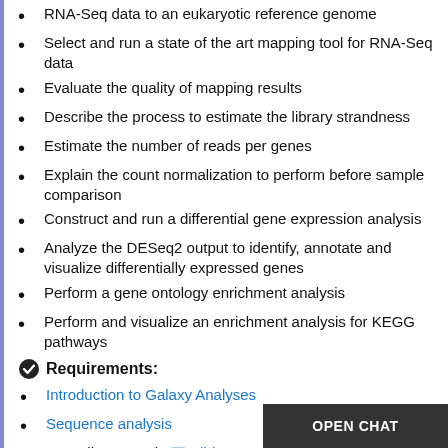RNA-Seq data to an eukaryotic reference genome
Select and run a state of the art mapping tool for RNA-Seq data
Evaluate the quality of mapping results
Describe the process to estimate the library strandness
Estimate the number of reads per genes
Explain the count normalization to perform before sample comparison
Construct and run a differential gene expression analysis
Analyze the DESeq2 output to identify, annotate and visualize differentially expressed genes
Perform a gene ontology enrichment analysis
Perform and visualize an enrichment analysis for KEGG pathways
Requirements:
Introduction to Galaxy Analyses
Sequence analysis
Quality Control: slides -